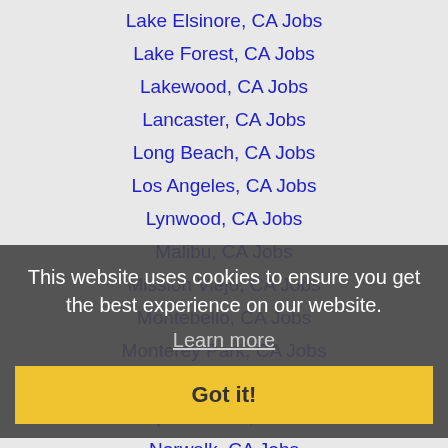Lake Elsinore, CA Jobs
Lake Forest, CA Jobs
Lakewood, CA Jobs
Lancaster, CA Jobs
Long Beach, CA Jobs
Los Angeles, CA Jobs
Lynwood, CA Jobs
Malibu, CA Jobs
Mission Viejo, CA Jobs
Montebello, CA Jobs
Monterey Park, CA Jobs
Murrieta, CA Jobs
Newport Beach, CA Jobs
Norwalk, CA Jobs
Orange, CA Jobs
Oxnard, CA Jobs
Palmdale, CA Jobs
Paramount, CA Jobs
This website uses cookies to ensure you get the best experience on our website. Learn more Got it!